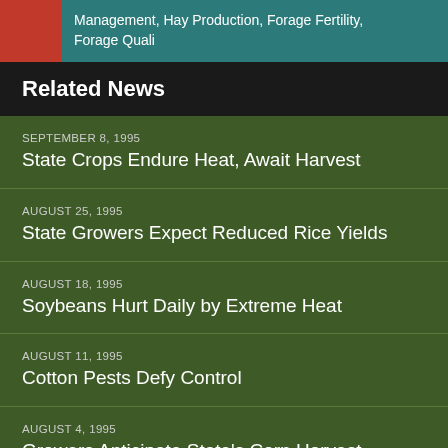Management, Hay Production, Forage Fertility, Forage Quali
Related News
SEPTEMBER 8, 1995
State Crops Endure Heat, Await Harvest
AUGUST 25, 1995
State Growers Expect Reduced Rice Yields
AUGUST 18, 1995
Soybeans Hurt Daily by Extreme Heat
AUGUST 11, 1995
Cotton Pests Defy Control
AUGUST 4, 1995
Growers Anticipate State's Corn Harvest